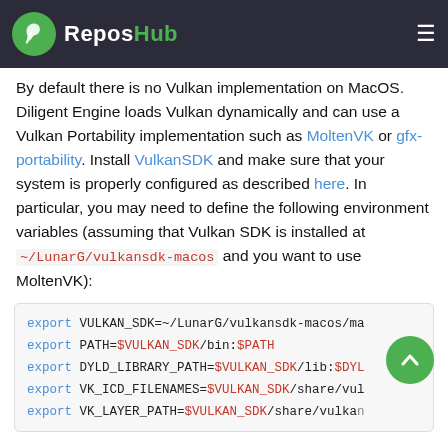ReposHub
By default there is no Vulkan implementation on MacOS. Diligent Engine loads Vulkan dynamically and can use a Vulkan Portability implementation such as MoltenVK or gfx-portability. Install VulkanSDK and make sure that your system is properly configured as described here. In particular, you may need to define the following environment variables (assuming that Vulkan SDK is installed at ~/LunarG/vulkansdk-macos and you want to use MoltenVK):
export VULKAN_SDK=~/LunarG/vulkansdk-macos/ma
export PATH=$VULKAN_SDK/bin:$PATH
export DYLD_LIBRARY_PATH=$VULKAN_SDK/lib:$DYL
export VK_ICD_FILENAMES=$VULKAN_SDK/share/vul
export VK_LAYER_PATH=$VULKAN_SDK/share/vulkan
Note that environment variables set in the shell are